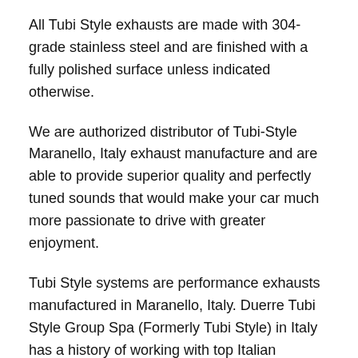All Tubi Style exhausts are made with 304-grade stainless steel and are finished with a fully polished surface unless indicated otherwise.
We are authorized distributor of Tubi-Style Maranello, Italy exhaust manufacture and are able to provide superior quality and perfectly tuned sounds that would make your car much more passionate to drive with greater enjoyment.
Tubi Style systems are performance exhausts manufactured in Maranello, Italy. Duerre Tubi Style Group Spa (Formerly Tubi Style) in Italy has a history of working with top Italian marques, providing products for Ferrari and Maserati since the company's establishment.
The Tubi Style factory is located in Maranello in close proximity with Ferrari's prestigious Maranello plant. The company was founded by Fausto Lettieri and Enrico Ruini,